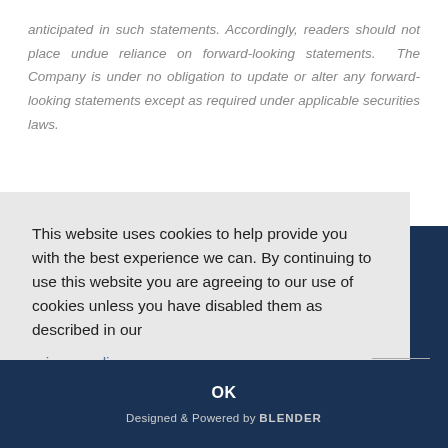anticipated in such statements. Accordingly, readers should not place undue reliance on forward-looking statements. The Company is under no obligation to update or alter any forward-looking statements except as required under applicable securities laws.
This website uses cookies to help provide you with the best experience we can. By continuing to use this website you are agreeing to our use of cookies unless you have disabled them as described in our privacy policy.
es
OK
Designed & Powered by BLENDER